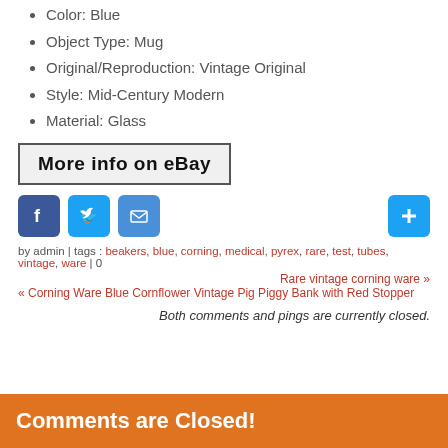Color: Blue
Object Type: Mug
Original/Reproduction: Vintage Original
Style: Mid-Century Modern
Material: Glass
[Figure (other): More info on eBay button]
[Figure (other): Social share icons: Facebook, Twitter, Email, and a plus button]
by admin | tags : beakers, blue, corning, medical, pyrex, rare, test, tubes, vintage, ware | 0
Rare vintage corning ware »
« Corning Ware Blue Cornflower Vintage Pig Piggy Bank with Red Stopper
Both comments and pings are currently closed.
Comments are Closed!